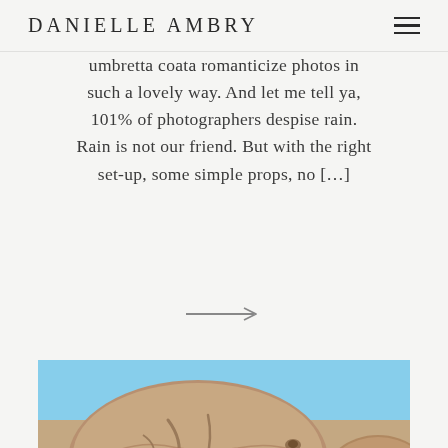DANIELLE AMBRY
umbretta coata romanticize photos in such a lovely way. And let me tell ya, 101% of photographers despise rain. Rain is not our friend. But with the right set-up, some simple props, no […]
[Figure (other): Arrow pointing right]
[Figure (photo): Large rounded granite boulders against a clear blue sky, desert landscape]